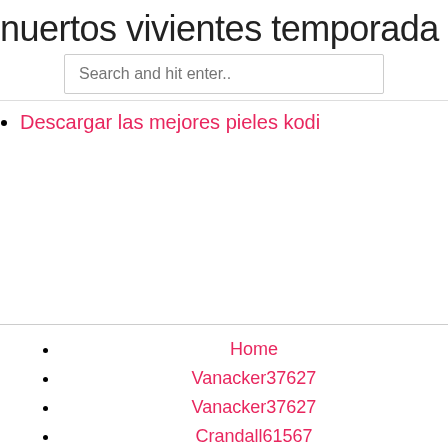nuertos vivientes temporada 1 episo
Search and hit enter..
Descargar las mejores pieles kodi
Home
Vanacker37627
Vanacker37627
Crandall61567